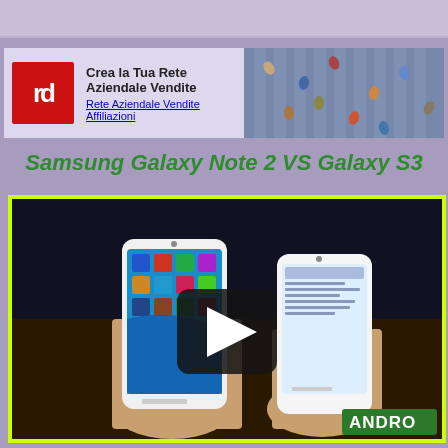[Figure (screenshot): Top navigation/search bar area of a webpage, light purple/gray background]
[Figure (photo): Banner advertisement for 'Crea la Tua Rete Aziendale Vendite' with red logo showing 'rd' letters, white text, and aerial photo of people crossing a street]
Samsung Galaxy Note 2 VS Galaxy S3
[Figure (screenshot): Video player showing two Samsung smartphones (Galaxy Note 2 and Galaxy S3) being held in hands, with a play button overlay in the center and 'ANDRO' text badge in the bottom right corner]